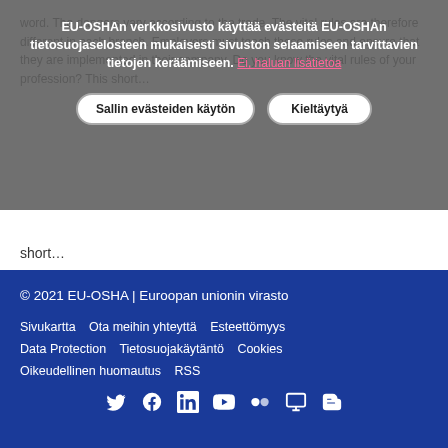word. The dangers vary according to the trade. The vital rules are therefore different in each branch. Employers must teach these rules and ensure that they are implemented in their company. Do you know the vital rules of your profession? This short...
EU-OSHAn verkkosivusto käyttää evästeitä EU-OSHAn tietosuojaselosteen mukaisesti sivuston selaamiseen tarvittavien tietojen keräämiseen. Ei, haluan lisätietoa
Sallin evästeiden käytön   Kieltäytyä
short...
Katso lisää →
© 2021 EU-OSHA | Euroopan unionin virasto
Sivukartta   Ota meihin yhteyttä   Esteettömyys
Data Protection   Tietosuojakäytäntö   Cookies
Oikeudellinen huomautus   RSS